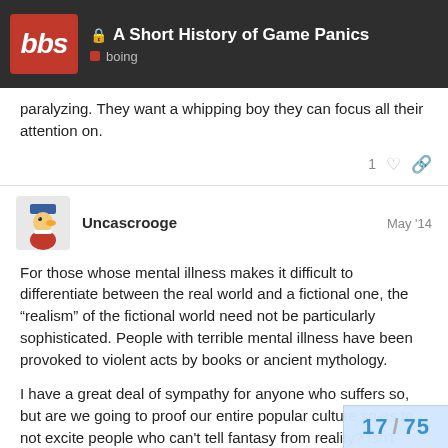A Short History of Game Panics | boing
paralyzing. They want a whipping boy they can focus all their attention on.
Uncascrooge  May '14
For those whose mental illness makes it difficult to differentiate between the real world and a fictional one, the “realism” of the fictional world need not be particularly sophisticated. People with terrible mental illness have been provoked to violent acts by books or ancient mythology.
I have a great deal of sympathy for anyone who suffers so, but are we going to proof our entire popular culture so as to not excite people who can’t tell fantasy from reality? Isn’t dealing with the mental illness our first responsibili... about games and guns later.
17 / 75